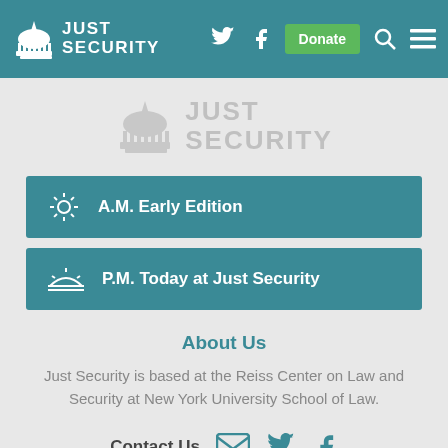JUST SECURITY — navigation header with Donate button, Twitter, Facebook, Search, Menu icons
[Figure (logo): Just Security watermark logo in light gray, centered]
A.M. Early Edition
P.M. Today at Just Security
About Us
Just Security is based at the Reiss Center on Law and Security at New York University School of Law.
Contact Us